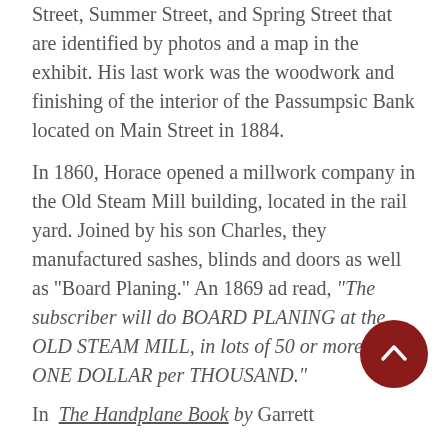Street, Summer Street, and Spring Street that are identified by photos and a map in the exhibit. His last work was the woodwork and finishing of the interior of the Passumpsic Bank located on Main Street in 1884.
In 1860, Horace opened a millwork company in the Old Steam Mill building, located in the rail yard. Joined by his son Charles, they manufactured sashes, blinds and doors as well as "Board Planing." An 1869 ad read, "The subscriber will do BOARD PLANING at the OLD STEAM MILL, in lots of 50 or more, at ONE DOLLAR per THOUSAND."
In The Handplane Book by Garrett